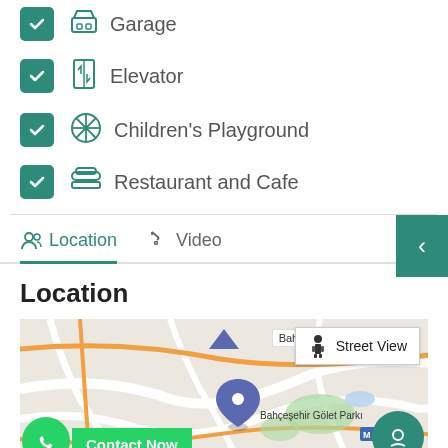Garage
Elevator
Children's Playground
Restaurant and Cafe
Location | Video
Location
[Figure (map): Google map showing Bahçeşehir area with Bahçeşehir Gölet Parkı marker, Street View overlay, and ISPART label visible]